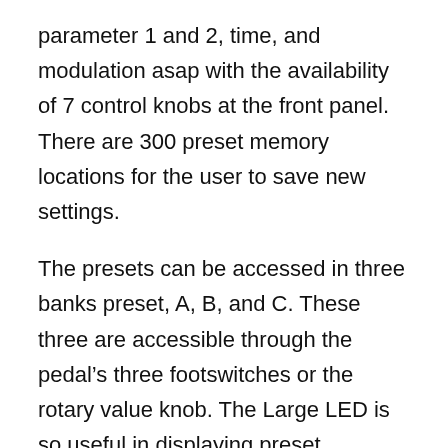parameter 1 and 2, time, and modulation asap with the availability of 7 control knobs at the front panel. There are 300 preset memory locations for the user to save new settings.
The presets can be accessed in three banks preset, A, B, and C. These three are accessible through the pedal’s three footswitches or the rotary value knob. The Large LED is so useful in displaying preset information with a number and a programmable name.
Another characteristic behavior is the LED light changing from green to amber-like when a preset is being modified. The quality is undisputed, and the reverb sound is phenomenal and better than some